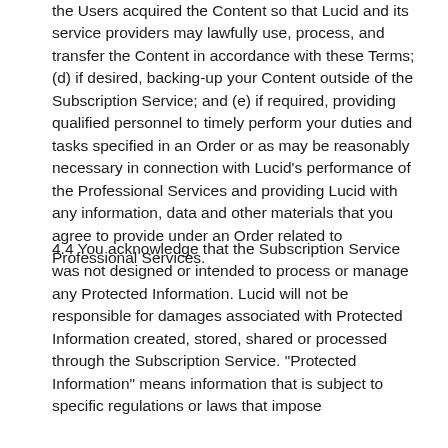the Users acquired the Content so that Lucid and its service providers may lawfully use, process, and transfer the Content in accordance with these Terms; (d) if desired, backing-up your Content outside of the Subscription Service; and (e) if required, providing qualified personnel to timely perform your duties and tasks specified in an Order or as may be reasonably necessary in connection with Lucid's performance of the Professional Services and providing Lucid with any information, data and other materials that you agree to provide under an Order related to Professional Services.
4.4 You acknowledge that the Subscription Service was not designed or intended to process or manage any Protected Information. Lucid will not be responsible for damages associated with Protected Information created, stored, shared or processed through the Subscription Service. "Protected Information" means information that is subject to specific regulations or laws that impose